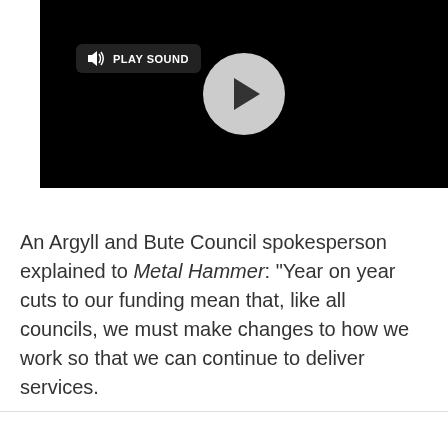[Figure (screenshot): A video player with black background showing a circular play button in the center and a 'PLAY SOUND' button with speaker icon in the top-left corner.]
An Argyll and Bute Council spokesperson explained to Metal Hammer: "Year on year cuts to our funding mean that, like all councils, we must make changes to how we work so that we can continue to deliver services.